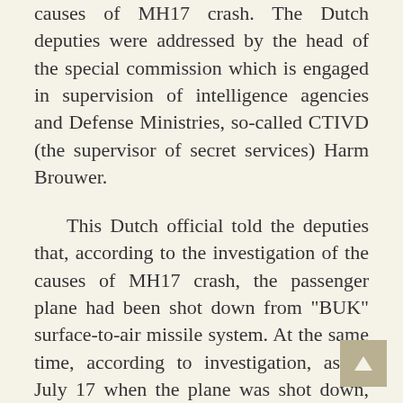causes of MH17 crash. The Dutch deputies were addressed by the head of the special commission which is engaged in supervision of intelligence agencies and Defense Ministries, so-called CTIVD (the supervisor of secret services) Harm Brouwer.
This Dutch official told the deputies that, according to the investigation of the causes of MH17 crash, the passenger plane had been shot down from "BUK" surface-to-air missile system. At the same time, according to investigation, as of July 17 when the plane was shot down, only the Ukrainian party had an efficient "BUK" system in Donbass.